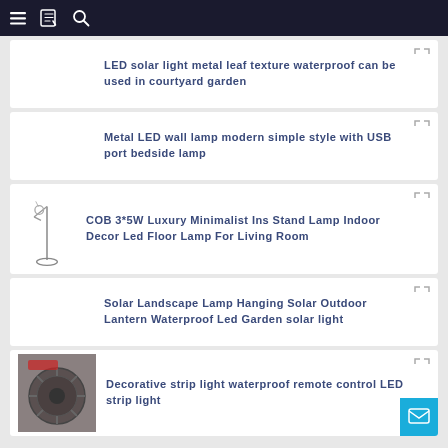Navigation bar with menu, bookmark, and search icons
LED solar light metal leaf texture waterproof can be used in courtyard garden
Metal LED wall lamp modern simple style with USB port bedside lamp
COB 3*5W Luxury Minimalist Ins Stand Lamp Indoor Decor Led Floor Lamp For Living Room
Solar Landscape Lamp Hanging Solar Outdoor Lantern Waterproof Led Garden solar light
Decorative strip light waterproof remote control LED strip light